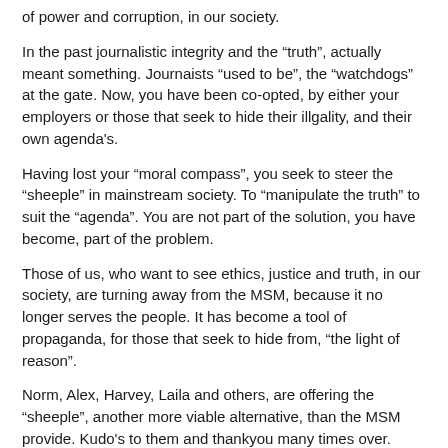of power and corruption, in our society.
In the past journalistic integrity and the “truth”, actually meant something. Journaists “used to be”, the “watchdogs” at the gate. Now, you have been co-opted, by either your employers or those that seek to hide their illgality, and their own agenda’s.
Having lost your “moral compass”, you seek to steer the “sheeple” in mainstream society. To “manipulate the truth” to suit the “agenda”. You are not part of the solution, you have become, part of the problem.
Those of us, who want to see ethics, justice and truth, in our society, are turning away from the MSM, because it no longer serves the people. It has become a tool of propaganda, for those that seek to hide from, “the light of reason”.
Norm, Alex, Harvey, Laila and others, are offering the “sheeple”, another more viable alternative, than the MSM provide. Kudo’s to them and thankyou many times over. Keep up the fight and the faith.